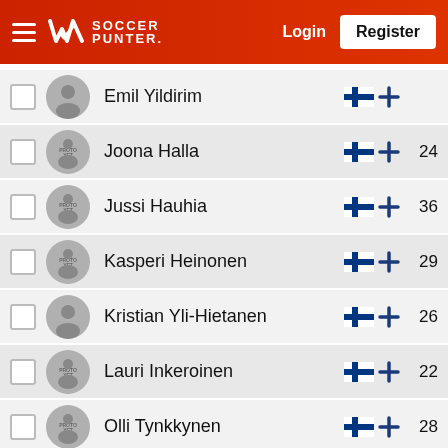Soccer Punter — Login | Register
Emil Yildirim
Joona Halla — 24
Jussi Hauhia — 36
Kasperi Heinonen — 29
Kristian Yli-Hietanen — 26
Lauri Inkeroinen — 22
Olli Tynkkynen — 28